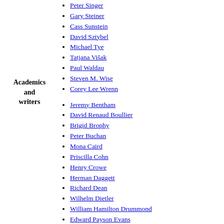Academics and writers
Peter Singer
Gary Steiner
Cass Sunstein
David Sztybel
Michael Tye
Tatjana Višak
Paul Waldau
Steven M. Wise
Corey Lee Wrenn
Jeremy Bentham
David Renaud Boullier
Brigid Brophy
Peter Buchan
Mona Caird
Priscilla Cohn
Henry Crowe
Herman Daggett
Richard Dean
Wilhelm Dietler
William Hamilton Drummond
Edward Payson Evans
Thomas Ignatius Maria Forster
John Galsworthy
Thomas G. Gentry
Arthur Hele